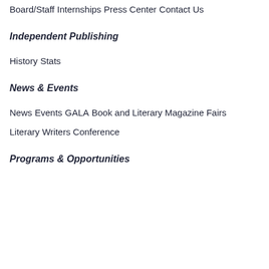Board/Staff
Internships
Press Center
Contact Us
Independent Publishing
History
Stats
News & Events
News
Events
GALA
Book and Literary Magazine Fairs
Literary Writers Conference
Programs & Opportunities